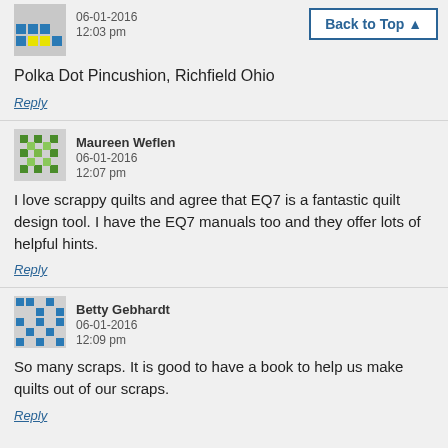Polka Dot Pincushion, Richfield Ohio
Reply
Maureen Weflen
06-01-2016
12:07 pm
I love scrappy quilts and agree that EQ7 is a fantastic quilt design tool. I have the EQ7 manuals too and they offer lots of helpful hints.
Reply
Betty Gebhardt
06-01-2016
12:09 pm
So many scraps. It is good to have a book to help us make quilts out of our scraps.
Reply